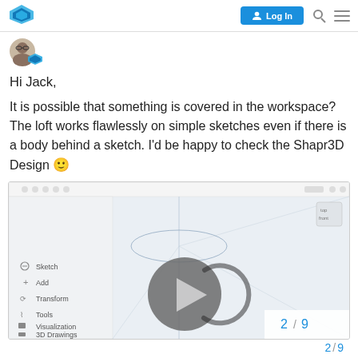Log In
[Figure (logo): Shapr3D blue diamond logo in top left of navigation bar]
[Figure (photo): User avatar: profile photo of person with glasses, with Shapr3D icon overlay]
Hi Jack,
It is possible that something is covered in the workspace? The loft works flawlessly on simple sketches even if there is a body behind a sketch. I'd be happy to check the Shapr3D Design 🙂
[Figure (screenshot): Screenshot of Shapr3D app workspace showing a 3D grid with menu items on the left (Sketch, Add, Transform, Tools, Visualization, 3D Drawings) and a play button overlay in the center]
2 / 9